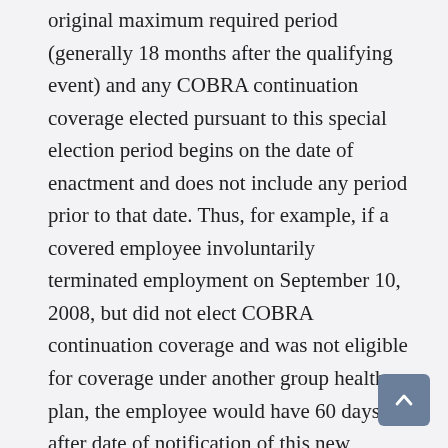original maximum required period (generally 18 months after the qualifying event) and any COBRA continuation coverage elected pursuant to this special election period begins on the date of enactment and does not include any period prior to that date. Thus, for example, if a covered employee involuntarily terminated employment on September 10, 2008, but did not elect COBRA continuation coverage and was not eligible for coverage under another group health plan, the employee would have 60 days after date of notification of this new election right to elect the coverage and receive the subsidy. If the employee